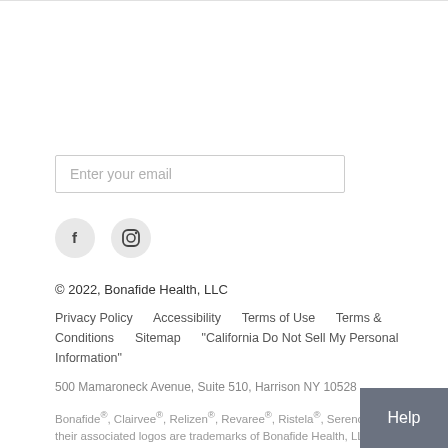[Figure (other): Email input field with placeholder text 'Enter your email']
[Figure (other): Social media icons: Facebook (f) and Instagram circular icon buttons]
© 2022, Bonafide Health, LLC
Privacy Policy    Accessibility    Terms of Use    Terms & Conditions    Sitemap    "California Do Not Sell My Personal Information"
500 Mamaroneck Avenue, Suite 510, Harrison NY 10528
Bonafide®, Clairvee®, Relizen®, Revaree®, Ristela®, Serenol™, and Sil their associated logos are trademarks of Bonafide Health, LLC. All third party